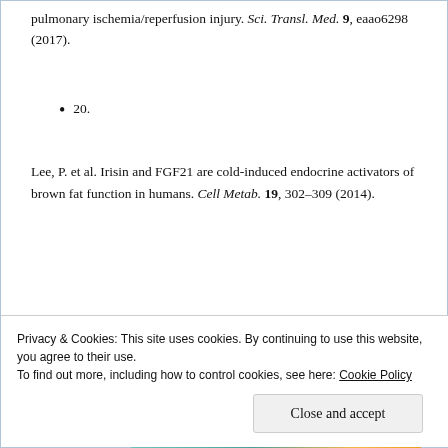pulmonary ischemia/reperfusion injury. Sci. Transl. Med. 9, eaao6298 (2017).
20.
Lee, P. et al. Irisin and FGF21 are cold-induced endocrine activators of brown fat function in humans. Cell Metab. 19, 302–309 (2014).
21.
[Figure (photo): Advertisement banner showing Meta and Facebook branding with colorful card designs]
Privacy & Cookies: This site uses cookies. By continuing to use this website, you agree to their use. To find out more, including how to control cookies, see here: Cookie Policy
Close and accept